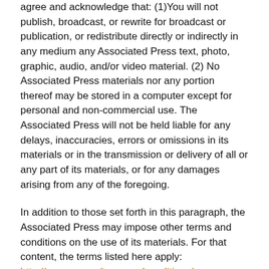agree and acknowledge that: (1)You will not publish, broadcast, or rewrite for broadcast or publication, or redistribute directly or indirectly in any medium any Associated Press text, photo, graphic, audio, and/or video material. (2) No Associated Press materials nor any portion thereof may be stored in a computer except for personal and non-commercial use. The Associated Press will not be held liable for any delays, inaccuracies, errors or omissions in its materials or in the transmission or delivery of all or any part of its materials, or for any damages arising from any of the foregoing.
In addition to those set forth in this paragraph, the Associated Press may impose other terms and conditions on the use of its materials. For that content, the terms listed here apply: http://www.ap.org/termsandconditions/
Links To Other Websites And Services
To the extent this Site contain links to outside websites and